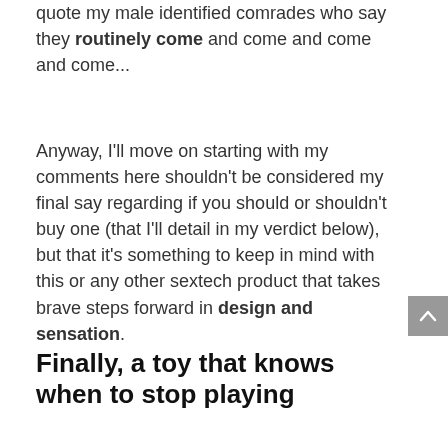quote my male identified comrades who say they routinely come and come and come and come...
Anyway, I'll move on starting with my comments here shouldn't be considered my final say regarding if you should or shouldn't buy one (that I'll detail in my verdict below), but that it's something to keep in mind with this or any other sextech product that takes brave steps forward in design and sensation.
Finally, a toy that knows when to stop playing